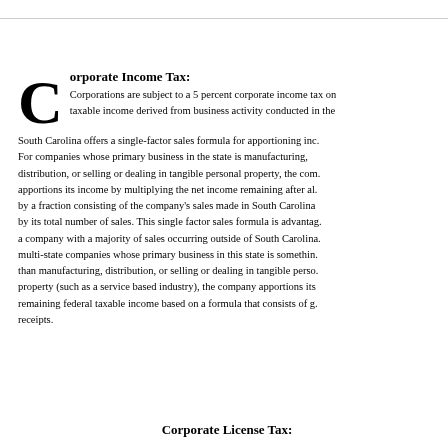Corporate Income Tax:
Corporations are subject to a 5 percent corporate income tax on taxable income derived from business activity conducted in the state. South Carolina offers a single-factor sales formula for apportioning income. For companies whose primary business in the state is manufacturing, distribution, or selling or dealing in tangible personal property, the company apportions its income by multiplying the net income remaining after all deductions by a fraction consisting of the company's sales made in South Carolina divided by its total number of sales. This single factor sales formula is advantageous for a company with a majority of sales occurring outside of South Carolina. For multi-state companies whose primary business in this state is something other than manufacturing, distribution, or selling or dealing in tangible personal property (such as a service based industry), the company apportions its remaining federal taxable income based on a formula that consists of gross receipts.
Corporate License Tax: